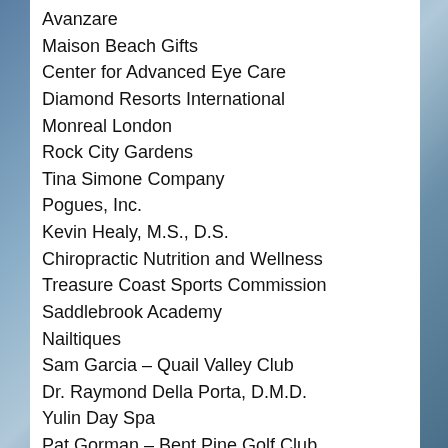Avanzare
Maison Beach Gifts
Center for Advanced Eye Care
Diamond Resorts International
Monreal London
Rock City Gardens
Tina Simone Company
Pogues, Inc.
Kevin Healy, M.S., D.S.
Chiropractic Nutrition and Wellness
Treasure Coast Sports Commission
Saddlebrook Academy
Nailtiques
Sam Garcia – Quail Valley Club
Dr. Raymond Della Porta, D.M.D.
Yulin Day Spa
Pat Gorman – Bent Pine Golf Club
Frosting